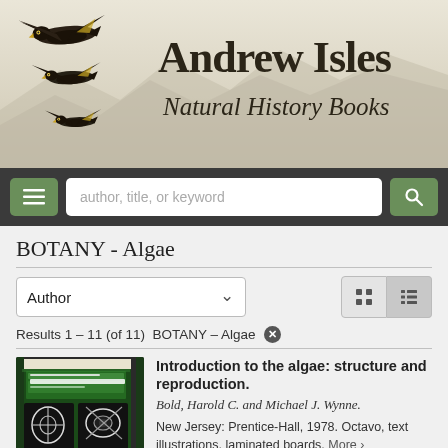[Figure (illustration): Andrew Isles Natural History Books website header with flying black eagles/wedge-tailed eagles on left and store name text on right, over a muted beige mountainous background]
Andrew Isles
Natural History Books
[Figure (screenshot): Navigation bar with hamburger menu button, search input field reading 'author, title, or keyword', and a search button]
BOTANY - Algae
Author [sort dropdown]
Results 1 – 11 (of 11)  BOTANY – Algae ✕
[Figure (photo): Book cover of 'Introduction to the ALGAE' - dark green cover with white geometric/cell pattern illustrations]
Introduction to the algae: structure and reproduction.
Bold, Harold C. and Michael J. Wynne.
New Jersey: Prentice-Hall, 1978. Octavo, text illustrations, laminated boards. More >